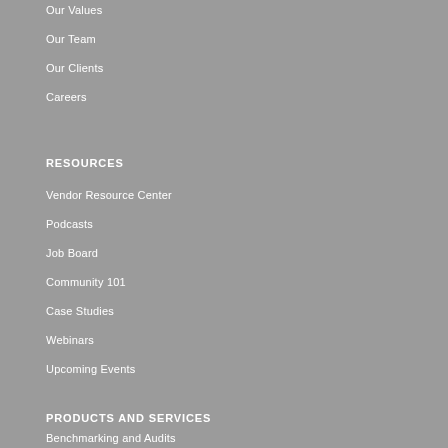Our Values
Our Team
Our Clients
Careers
RESOURCES
Vendor Resource Center
Podcasts
Job Board
Community 101
Case Studies
Webinars
Upcoming Events
PRODUCTS AND SERVICES
Benchmarking and Audits